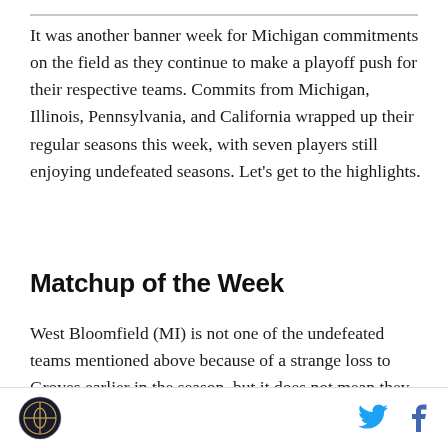It was another banner week for Michigan commitments on the field as they continue to make a playoff push for their respective teams. Commits from Michigan, Illinois, Pennsylvania, and California wrapped up their regular seasons this week, with seven players still enjoying undefeated seasons. Let's get to the highlights.
Matchup of the Week
West Bloomfield (MI) is not one of the undefeated teams mentioned above because of a strange loss to Groves earlier in the season, but it does not mean they aren't still considered one of the main contenders to win a state title. They proved that against defending state champions De La Salle in the final game of the